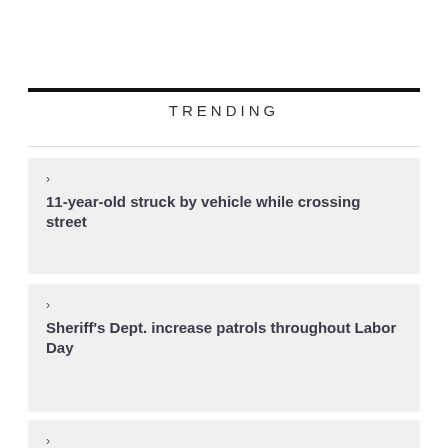TRENDING
11-year-old struck by vehicle while crossing street
Sheriff's Dept. increase patrols throughout Labor Day